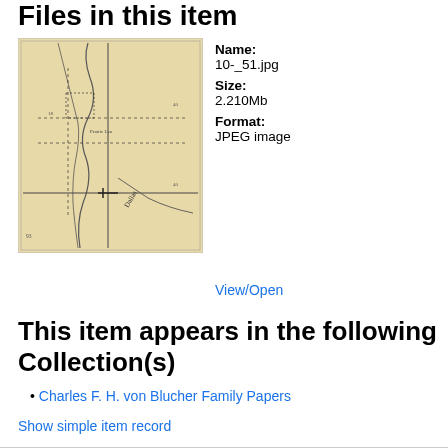Files in this item
[Figure (map): Thumbnail of a historical hand-drawn map on yellowed paper showing rivers, roads, dotted survey lines, and place names including 'Dallas'.]
Name:
10-_51.jpg
Size:
2.210Mb
Format:
JPEG image
View/Open
This item appears in the following Collection(s)
Charles F. H. von Blucher Family Papers
Show simple item record